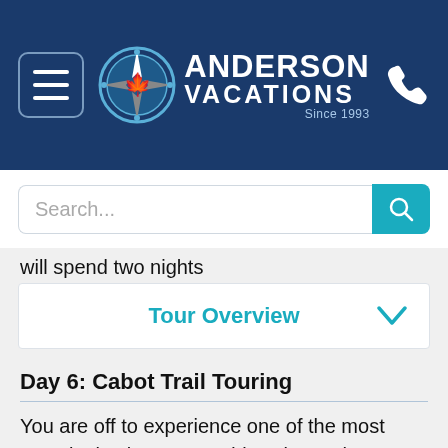[Figure (logo): Anderson Vacations logo with compass rose icon, white text on dark blue background, 'Since 1993' tagline]
will spend two nights
Tour Overview
Day 6: Cabot Trail Touring
You are off to experience one of the most stunningly picturesque drives in North America. The Cabot Trail winds around the rocky splendor of Cape Breton's northern shore, ascending to the incredible plateaus of Cape Breton Highlands National Park. Look-offs offer unforgettable vistas of Cape Breton's rugged coastline. Also enjoy a Whale Watching Boat Tour.